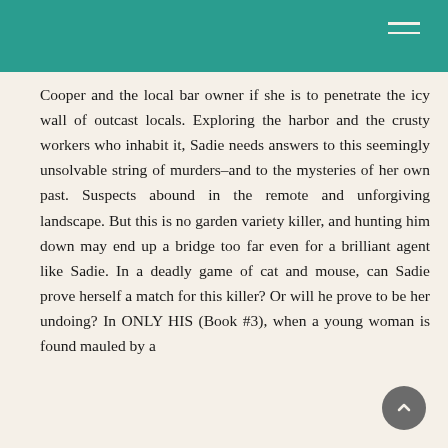Cooper and the local bar owner if she is to penetrate the icy wall of outcast locals. Exploring the harbor and the crusty workers who inhabit it, Sadie needs answers to this seemingly unsolvable string of murders–and to the mysteries of her own past. Suspects abound in the remote and unforgiving landscape. But this is no garden variety killer, and hunting him down may end up a bridge too far even for a brilliant agent like Sadie. In a deadly game of cat and mouse, can Sadie prove herself a match for this killer? Or will he prove to be her undoing? In ONLY HIS (Book #3), when a young woman is found mauled by a